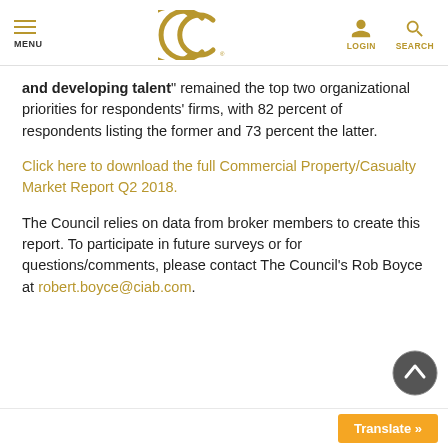MENU | [CCC Logo] | LOGIN | SEARCH
and developing talent remained the top two organizational priorities for respondents' firms, with 82 percent of respondents listing the former and 73 percent the latter.
Click here to download the full Commercial Property/Casualty Market Report Q2 2018.
The Council relies on data from broker members to create this report. To participate in future surveys or for questions/comments, please contact The Council's Rob Boyce at robert.boyce@ciab.com.